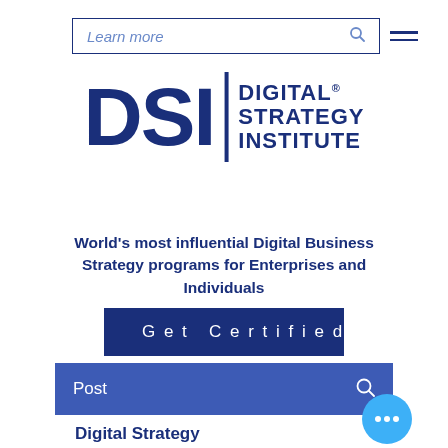[Figure (screenshot): Search bar with placeholder text 'Learn more', search icon, and hamburger menu icon]
[Figure (logo): DSI Digital Strategy Institute logo in dark navy blue]
World's most influential Digital Business Strategy programs for Enterprises and Individuals
Get Certified
Post
Digital Strategy